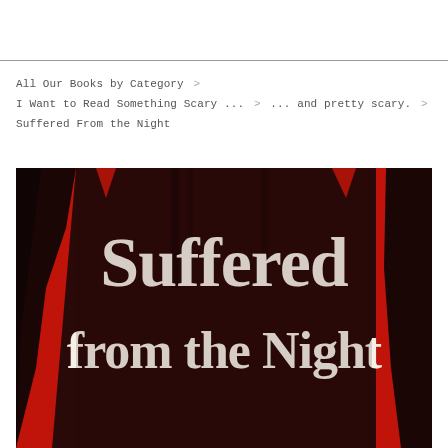All Our Books by Category >
I Want to Read Something Scary ... > ... and pretty scary. >
Suffered From the Night
[Figure (illustration): Book cover for 'Suffered from the Night' — dark red and black background with a shadowy cloaked figure silhouette, white text reading 'Suffered from the Night' in gothic serif font]